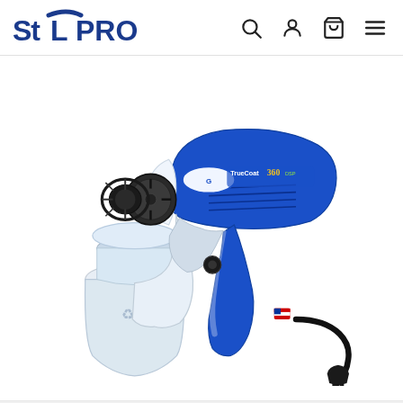StL PRO — navigation header with logo and icons
[Figure (photo): Graco TrueCoat 360 Plus electric handheld paint sprayer, white and blue body with black nozzle tip and cup reservoir attached below, power cord with plug extending to the right, on white background.]